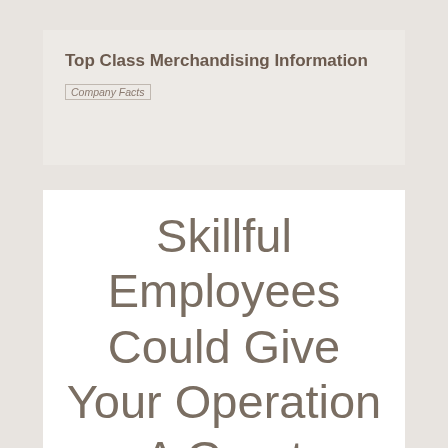Top Class Merchandising Information
Company Facts
Skillful Employees Could Give Your Operation A Great